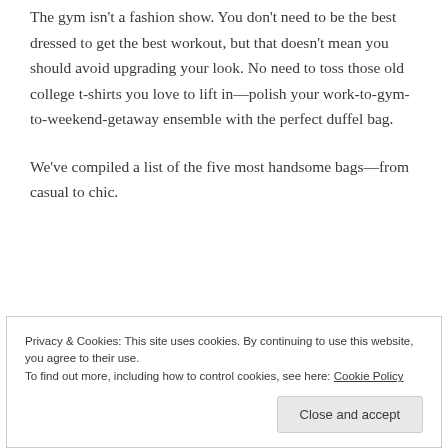The gym isn't a fashion show. You don't need to be the best dressed to get the best workout, but that doesn't mean you should avoid upgrading your look. No need to toss those old college t-shirts you love to lift in—polish your work-to-gym-to-weekend-getaway ensemble with the perfect duffel bag.
We've compiled a list of the five most handsome bags—from casual to chic.
Privacy & Cookies: This site uses cookies. By continuing to use this website, you agree to their use. To find out more, including how to control cookies, see here: Cookie Policy